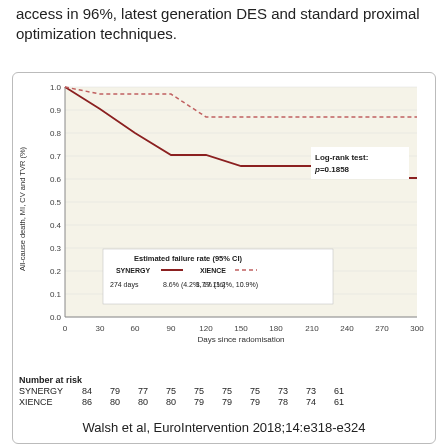access in 96%, latest generation DES and standard proximal optimization techniques.
[Figure (line-chart): Estimated failure rate (95% CI)]
Walsh et al, EuroIntervention 2018;14:e318-e324